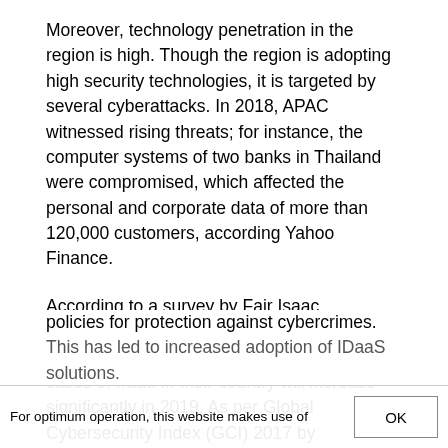Moreover, technology penetration in the region is high. Though the region is adopting high security technologies, it is targeted by several cyberattacks. In 2018, APAC witnessed rising threats; for instance, the computer systems of two banks in Thailand were compromised, which affected the personal and corporate data of more than 120,000 customers, according Yahoo Finance.
According to a survey by Fair Isaac Corporation (FICO) cited by Yahoo Finance, 74% of APAC banks surveyed believe that cases of fraud in their country will increase significantly in 2019. As per Global Cybersecurity Index (GCI) 2017 by International Telecommunication Union (ITU), Singapore and Malaysia are among the top five countries globally that have shown commitment toward building national policies for protection against cybercrimes. This has led to increased adoption of IDaaS solutions.
For optimum operation, this website makes use of